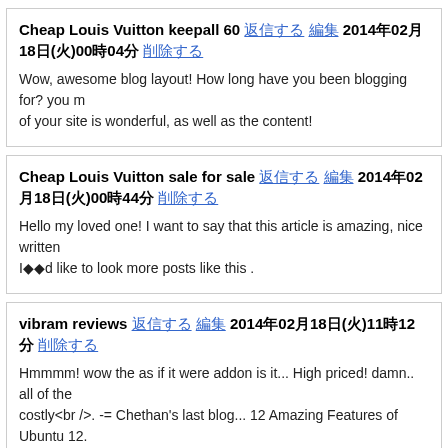Cheap Louis Vuitton keepall 60 [link] [link] 2014年02月18日(火)00時04分 [link]
Wow, awesome blog layout! How long have you been blogging for? you make blogging look easy. The overall look of your site is wonderful, as well as the content!
Cheap Louis Vuitton sale for sale [link] [link] 2014年02月18日(火)00時44分 [link]
Hello my loved one! I want to say that this article is amazing, nice written and I◆◆d like to look more posts like this .
vibram reviews [link] [link] 2014年02月18日(火)11時12分 [link]
Hmmmm! wow the as if it were addon is it... High priced! damn.. all of the costly<br />. -= Chethan's last blog... 12 Amazing Features of Ubuntu 12.
vibram running [link] [link] 2014年02月18日(火)11時12分 [link]
Nicely iPad is often a nice program yet. But to be truthful just a waste ma NpXp's last weblog... The way Not to ever Find Banned By Yahoo and go